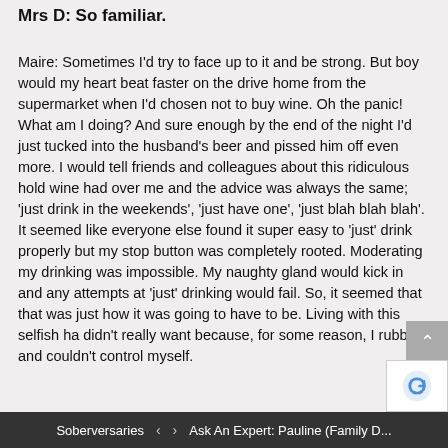Mrs D: So familiar.
Maire: Sometimes I’d try to face up to it and be strong. But boy would my heart beat faster on the drive home from the supermarket when I’d chosen not to buy wine. Oh the panic! What am I doing? And sure enough by the end of the night I’d just tucked into the husband’s beer and pissed him off even more. I would tell friends and colleagues about this ridiculous hold wine had over me and the advice was always the same; ‘just drink in the weekends’, ‘just have one’, ‘just blah blah blah’. It seemed like everyone else found it super easy to ‘just’ drink properly but my stop button was completely rooted. Moderating my drinking was impossible. My naughty gland would kick in and any attempts at ‘just’ drinking would fail. So, it seemed that that was just how it was going to have to be. Living with this selfish ha... didn’t really want because, for some reason, I rubbish and couldn’t control myself.
Soberversaries ‹ › Ask An Expert: Pauline (Family D...